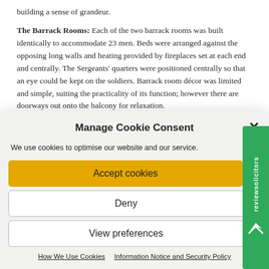building a sense of grandeur.
The Barrack Rooms: Each of the two barrack rooms was built identically to accommodate 23 men. Beds were arranged against the opposing long walls and heating provided by fireplaces set at each end and centrally. The Sergeants' quarters were positioned centrally so that an eye could be kept on the soldiers. Barrack room décor was limited and simple, suiting the practicality of its function; however there are doorways out onto the balcony for relaxation.
Manage Cookie Consent
We use cookies to optimise our website and our service.
Accept cookies
Deny
View preferences
How We Use Cookies   Information Notice and Security Policy